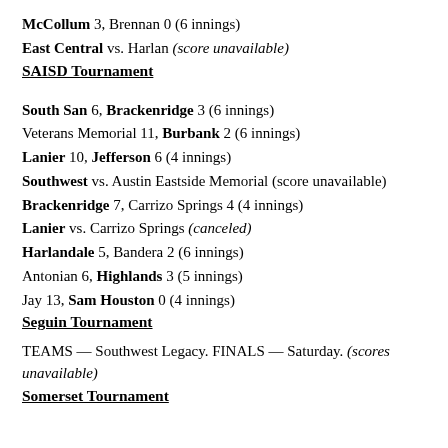McCollum 3, Brennan 0 (6 innings)
East Central vs. Harlan (score unavailable)
SAISD Tournament
South San 6, Brackenridge 3 (6 innings)
Veterans Memorial 11, Burbank 2 (6 innings)
Lanier 10, Jefferson 6 (4 innings)
Southwest vs. Austin Eastside Memorial (score unavailable)
Brackenridge 7, Carrizo Springs 4 (4 innings)
Lanier vs. Carrizo Springs (canceled)
Harlandale 5, Bandera 2 (6 innings)
Antonian 6, Highlands 3 (5 innings)
Jay 13, Sam Houston 0 (4 innings)
Seguin Tournament
TEAMS — Southwest Legacy. FINALS — Saturday. (scores unavailable)
Somerset Tournament